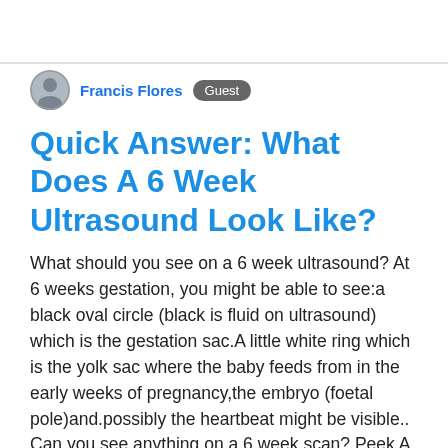[Figure (other): Circular avatar photo of Francis Flores]
Francis Flores  Guest
Quick Answer: What Does A 6 Week Ultrasound Look Like?
What should you see on a 6 week ultrasound? At 6 weeks gestation, you might be able to see:a black oval circle (black is fluid on ultrasound) which is the gestation sac.A little white ring which is the yolk sac where the baby feeds from in the early weeks of pregnancy,the embryo (foetal pole)and.possibly the heartbeat might be visible.. Can you see anything on a 6 week scan? Peek A Baby offers Early Pregnancy Reassurance Scans from 6 weeks of pregnancy. In viable pregnancies, trans-vaginal (internal) scans should be able to detect a gestation sac from 5 weeks of